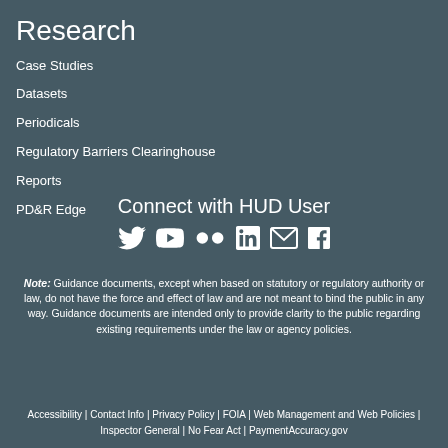Research
Case Studies
Datasets
Periodicals
Regulatory Barriers Clearinghouse
Reports
PD&R Edge
Connect with HUD User
[Figure (infographic): Social media icons: Twitter, YouTube, Flickr, LinkedIn, Email, Facebook]
Note: Guidance documents, except when based on statutory or regulatory authority or law, do not have the force and effect of law and are not meant to bind the public in any way. Guidance documents are intended only to provide clarity to the public regarding existing requirements under the law or agency policies.
Accessibility | Contact Info | Privacy Policy | FOIA | Web Management and Web Policies | Inspector General | No Fear Act | PaymentAccuracy.gov